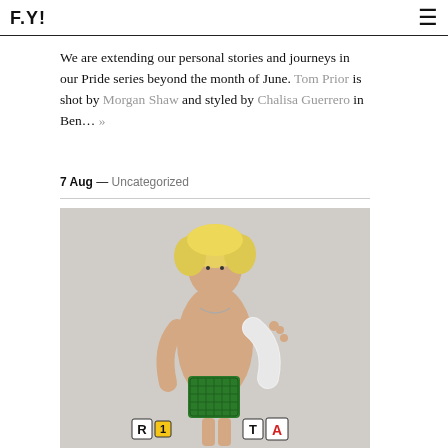F.Y!
We are extending our personal stories and journeys in our Pride series beyond the month of June. Tom Prior is shot by Morgan Shaw and styled by Chalisa Guerrero in Ben… »
7 Aug — Uncategorized
[Figure (photo): Young person with blonde curly hair, shirtless, wearing a cast on one arm, holding a green crocheted bag, with colorful letter tiles spelling 'R1 TA' in the foreground, against a light grey background]